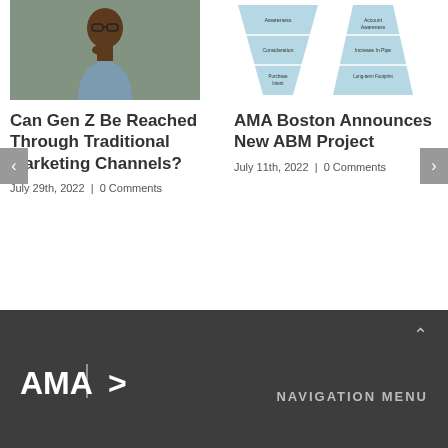[Figure (photo): Black man with glasses and grey shirt, hand on chin in thoughtful pose]
[Figure (infographic): Two funnel/triangle diagrams showing marketing concepts: left downward triangle (Awareness, Consideration, Purchase Intent), right upward triangle (Account Awareness, Increase In Pipe, Long-term Footprint)]
Can Gen Z Be Reached Through Traditional Marketing Channels?
July 29th, 2022  |  0 Comments
AMA Boston Announces New ABM Project
July 11th, 2022  |  0 Comments
NAVIGATION MENU